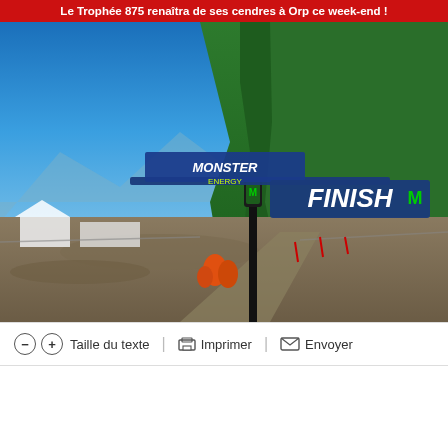Le Trophée 875 renaîtra de ses cendres à Orp ce week-end !
[Figure (photo): Outdoor motocross or cycling event venue with Monster Energy FINISH banner/gate, mountain and blue sky background with bright sun, dirt track area visible in foreground]
− + Taille du texte | Imprimer | Envoyer